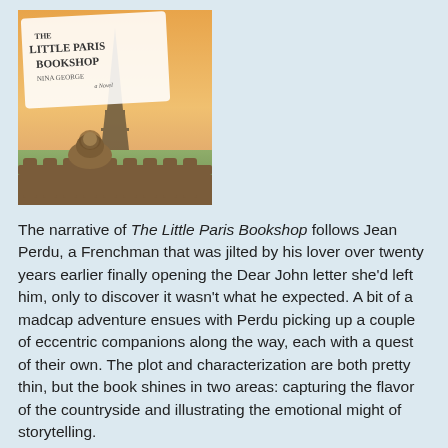[Figure (illustration): Book cover of 'The Little Paris Bookshop' by Nina George, showing the Eiffel Tower in the background and a decorative balustrade with a lion sculpture in the foreground, warm golden tones.]
The narrative of The Little Paris Bookshop follows Jean Perdu, a Frenchman that was jilted by his lover over twenty years earlier finally opening the Dear John letter she'd left him, only to discover it wasn't what he expected. A bit of a madcap adventure ensues with Perdu picking up a couple of eccentric companions along the way, each with a quest of their own. The plot and characterization are both pretty thin, but the book shines in two areas: capturing the flavor of the countryside and illustrating the emotional might of storytelling.
As much as I enjoy living in Austin, getting away from civilization from time to time has always been a guilty pleasure. George depicts the transition from city to pastoral